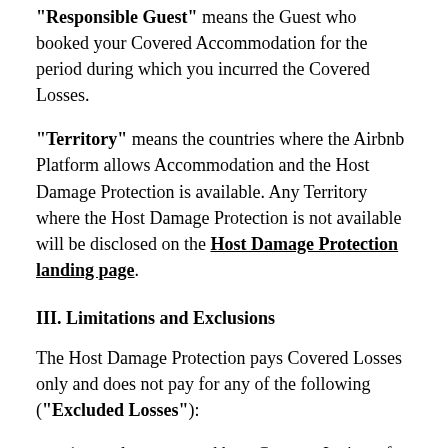"Responsible Guest" means the Guest who booked your Covered Accommodation for the period during which you incurred the Covered Losses.
"Territory" means the countries where the Airbnb Platform allows Accommodation and the Host Damage Protection is available. Any Territory where the Host Damage Protection is not available will be disclosed on the Host Damage Protection landing page.
III. Limitations and Exclusions
The Host Damage Protection pays Covered Losses only and does not pay for any of the following ("Excluded Losses"):
any losses caused by a Guest or Invitee after the expiration of the booking period shown in the applicable Listing